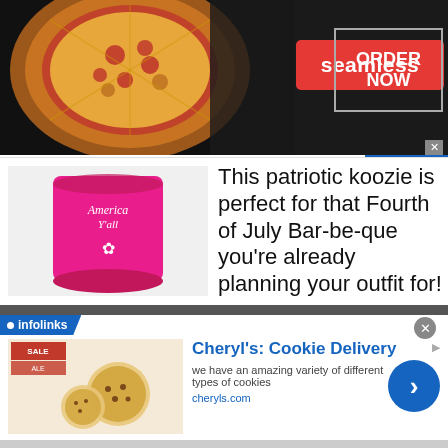[Figure (screenshot): Seamless food delivery banner advertisement with pizza image on left, red 'seamless' button in center, and 'ORDER NOW' button on right with dark background]
[Figure (photo): Pink can koozie with 'America Y'all' text and star graphic printed in white]
This patriotic koozie is perfect for that Fourth of July Bar-be-que you're already planning your outfit for!
[Figure (screenshot): Infolinks advertisement for Cheryl's Cookie Delivery with cookie image, blue title text, description 'we have an amazing variety of different types of cookies', URL cheryls.com, and blue circle arrow button]